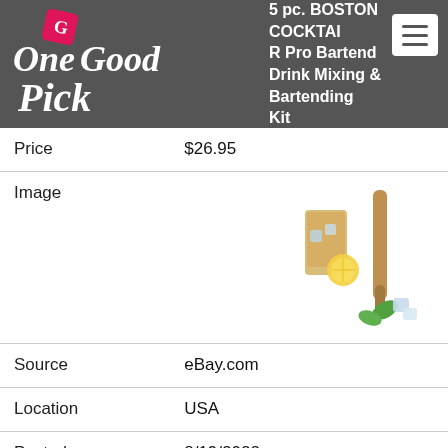One Good Pick — 5 pc. BOSTON COCKTAIL R Pro Bartender Drink Mixing & Bartending Kit
| Title | 5 pc. BOSTON COCKTAIL R Pro Bartender Drink Mixing & Bartending Kit |
| Price | $26.95 |
| Image | (product image) |
| Source | eBay.com |
| Location | USA |
| Posted | 8/19/2022 |
| Title | 9.8" Oak Wood Cocktail Mojito Muddler Ice Crusher Stirrer Bartending Mix Stick |